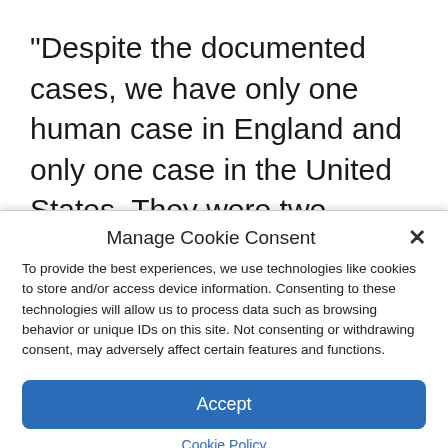“Despite the documented cases, we have only one human case in England and only one case in the United States. They were two people who worked with contaminated domestic poultry. It’s perfectly fine to go to the Magdalen Islands or Bonaventure Island,” concludes the biologist.
Manage Cookie Consent
To provide the best experiences, we use technologies like cookies to store and/or access device information. Consenting to these technologies will allow us to process data such as browsing behavior or unique IDs on this site. Not consenting or withdrawing consent, may adversely affect certain features and functions.
Accept
Cookie Policy